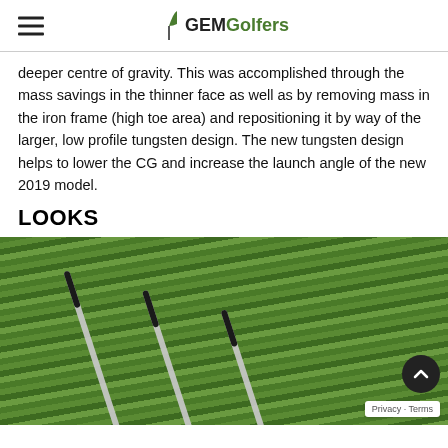GEMGolfers
deeper centre of gravity. This was accomplished through the mass savings in the thinner face as well as by removing mass in the iron frame (high toe area) and repositioning it by way of the larger, low profile tungsten design. The new tungsten design helps to lower the CG and increase the launch angle of the new 2019 model.
LOOKS
[Figure (photo): Photo of three TaylorMade golf irons laid on grass, viewed from above at an angle, showing silver club heads and black grips.]